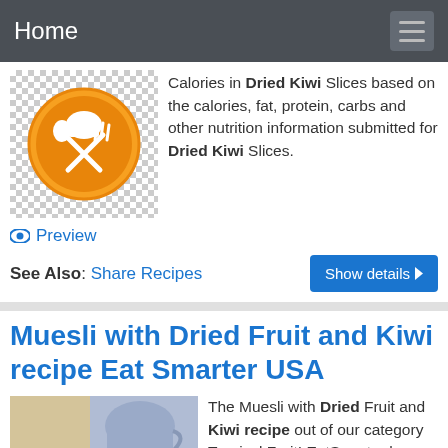Home
Calories in Dried Kiwi Slices based on the calories, fat, protein, carbs and other nutrition information submitted for Dried Kiwi Slices.
Preview
See Also: Share Recipes
Muesli with Dried Fruit and Kiwi recipe Eat Smarter USA
The Muesli with Dried Fruit and Kiwi recipe out of our category Tropical Fruit! EatSmarter has over 80,000 healthy & delicious recipes